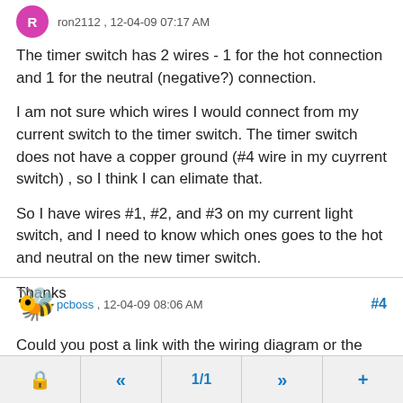ron2112 , 12-04-09 07:17 AM
The timer switch has 2 wires - 1 for the hot connection and 1 for the neutral (negative?) connection.
I am not sure which wires I would connect from my current switch to the timer switch. The timer switch does not have a copper ground (#4 wire in my cuyrrent switch) , so I think I can elimate that.
So I have wires #1, #2, and #3 on my current light switch, and I need to know which ones goes to the hot and neutral on the new timer switch.
Thanks
pcboss , 12-04-09 08:06 AM  #4
Could you post a link with the wiring diagram or the part number?
🔒  «  1/1  »  +